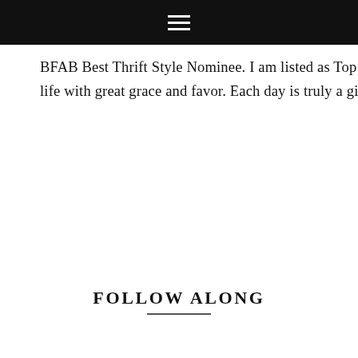[Navigation bar with hamburger menu icon]
BFAB Best Thrift Style Nominee. I am listed as Top 10 bloggers to follow in ThredUP. I'm living life with great grace and favor. Each day is truly a gift. Follow my journey! Events and more!
FOLLOW ALONG